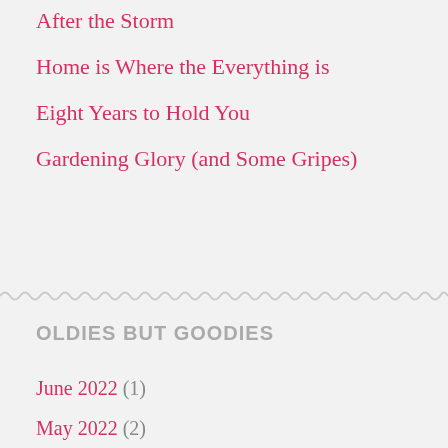After the Storm
Home is Where the Everything is
Eight Years to Hold You
Gardening Glory (and Some Gripes)
OLDIES BUT GOODIES
June 2022 (1)
May 2022 (2)
October 2021 (1)
September 2021 (1)
July 2021 (1)
April 2021 (3)
March 2021 (1)